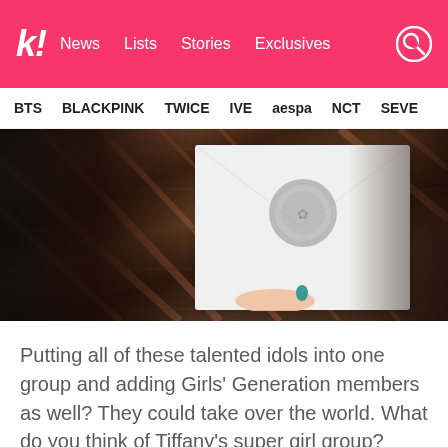kookie! News  Lists  Stories  Exclusives
BTS  BLACKPINK  TWICE  IVE  aespa  NCT  SEVE
[Figure (photo): Person holding a white envelope with a wax seal, wearing a plaid flannel shirt, with dark hair visible]
Putting all of these talented idols into one group and adding Girls' Generation members as well? They could take over the world. What do you think of Tiffany's super girl group?
SOURCE